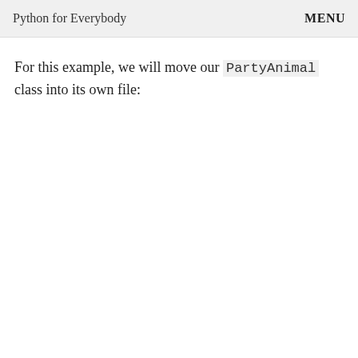Python for Everybody   MENU
For this example, we will move our PartyAnimal class into its own file: